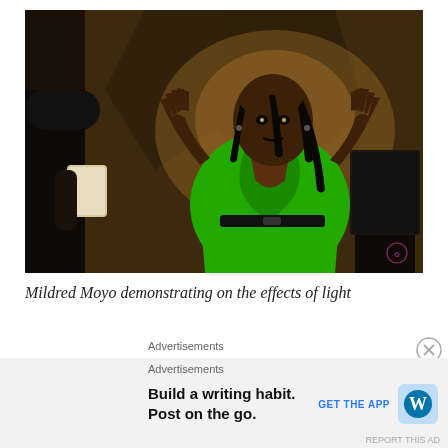[Figure (photo): A woman in a bright green satin wrap top with her hands raised, demonstrating something about light effects. She stands in a dimly lit room with dramatic shadows on the wall behind her. A music stand or lectern is visible to her right, and another person's arm holding a white booklet is visible on the left edge.]
Mildred Moyo demonstrating on the effects of light
Advertisements
Advertisements
Build a writing habit. Post on the go.
GET THE APP